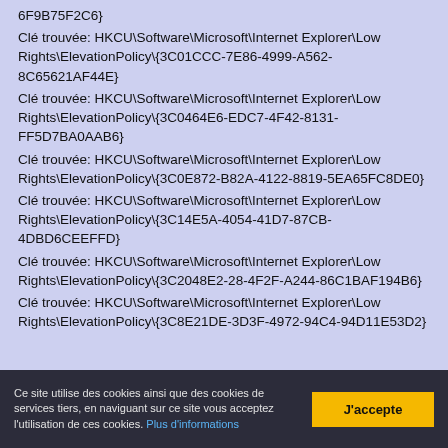6F9B75F2C6}
Clé trouvée: HKCU\Software\Microsoft\Internet Explorer\Low Rights\ElevationPolicy\{3C01CCC-7E86-4999-A562-8C65621AF44E}
Clé trouvée: HKCU\Software\Microsoft\Internet Explorer\Low Rights\ElevationPolicy\{3C0464E6-EDC7-4F42-8131-FF5D7BA0AAB6}
Clé trouvée: HKCU\Software\Microsoft\Internet Explorer\Low Rights\ElevationPolicy\{3C0E872-B82A-4122-8819-5EA65FC8DE0}
Clé trouvée: HKCU\Software\Microsoft\Internet Explorer\Low Rights\ElevationPolicy\{3C14E5A-4054-41D7-87CB-4DBD6CEEFFD}
Clé trouvée: HKCU\Software\Microsoft\Internet Explorer\Low Rights\ElevationPolicy\{3C2048E2-28-4F2F-A244-86C1BAF194B6}
Clé trouvée: HKCU\Software\Microsoft\Internet Explorer\Low Rights\ElevationPolicy\{3C8E21DE-3D3F-4972-94C4-94D11E53D2}
Ce site utilise des cookies ainsi que des cookies de services tiers, en naviguant sur ce site vous acceptez l'utilisation de ces cookies. Plus d'informations